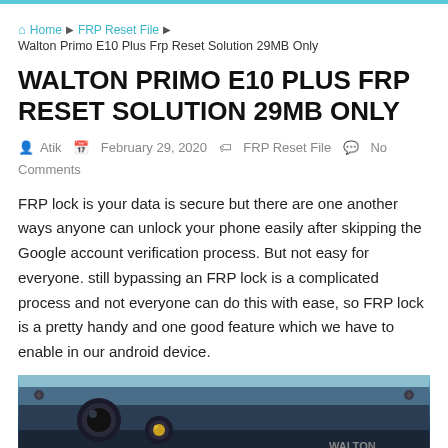Home > FRP Reset File > Walton Primo E10 Plus Frp Reset Solution 29MB Only
WALTON PRIMO E10 PLUS FRP RESET SOLUTION 29MB ONLY
Atik  February 29, 2020  FRP Reset File  No Comments
FRP lock is your data is secure but there are one another ways anyone can unlock your phone easily after skipping the Google account verification process. But not easy for everyone. still bypassing an FRP lock is a complicated process and not everyone can do this with ease, so FRP lock is a pretty handy and one good feature which we have to enable in our android device.
[Figure (photo): Back of a Walton Primo E10 Plus smartphone showing the rear camera and device back panel]